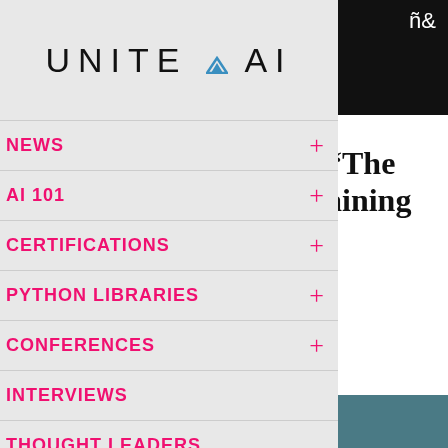[Figure (logo): UNITE.AI logo with blue triangle accent, displayed on light gray background]
NEWS +
AI 101 +
CERTIFICATIONS +
PYTHON LIBRARIES +
CONFERENCES +
INTERVIEWS
THOUGHT LEADERS
NEWSLETTERS
ORGANIZATIONS
“The
aining